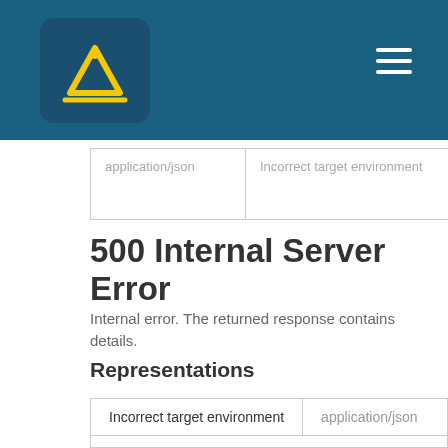Navigation header with logo and hamburger menu
| application/json | Incorrect target environment |
| --- | --- |
500 Internal Server Error
Internal error. The returned response contains details.
Representations
| Incorrect target environment | application/json |
| --- | --- |
| Sample | Schema |
| { |  |